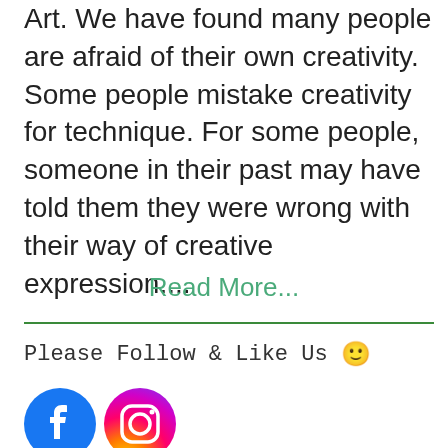Art. We have found many people are afraid of their own creativity.  Some people mistake creativity for technique. For some people, someone in their past may have told them they were wrong with their way of creative expression....
Read More...
Please Follow & Like Us 🙂
[Figure (logo): Facebook and Instagram social media icons]